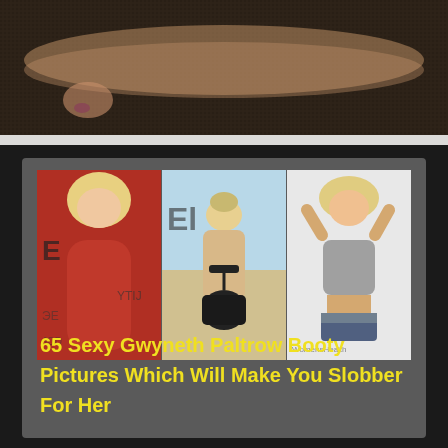[Figure (photo): Partial photo of a person lying down on a dark textured surface, showing legs and feet with nail polish]
[Figure (photo): Collage of three photos showing a blonde woman: left in red dress at an event (ELLE backdrop), center in black bikini seen from behind at beach, right in grey crop top posing with hands behind head (Women's Health)]
65 Sexy Gwyneth Paltrow Booty Pictures Which Will Make You Slobber For Her